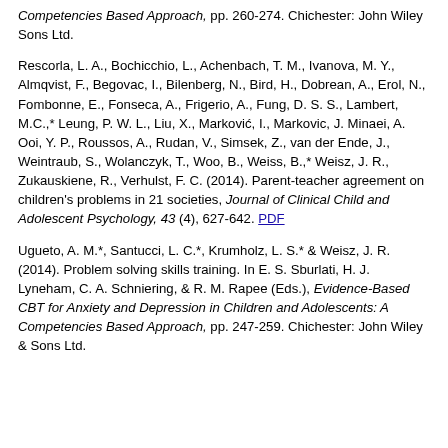Competencies Based Approach, pp. 260-274. Chichester: John Wiley Sons Ltd.
Rescorla, L. A., Bochicchio, L., Achenbach, T. M., Ivanova, M. Y., Almqvist, F., Begovac, I., Bilenberg, N., Bird, H., Dobrean, A., Erol, N., Fombonne, E., Fonseca, A., Frigerio, A., Fung, D. S. S., Lambert, M.C.,* Leung, P. W. L., Liu, X., Marković, I., Markovic, J. Minaei, A. Ooi, Y. P., Roussos, A., Rudan, V., Simsek, Z., van der Ende, J., Weintraub, S., Wolanczyk, T., Woo, B., Weiss, B.,* Weisz, J. R., Zukauskiene, R., Verhulst, F. C. (2014). Parent-teacher agreement on children's problems in 21 societies, Journal of Clinical Child and Adolescent Psychology, 43 (4), 627-642. PDF
Ugueto, A. M.*, Santucci, L. C.*, Krumholz, L. S.* & Weisz, J. R. (2014). Problem solving skills training. In E. S. Sburlati, H. J. Lyneham, C. A. Schniering, & R. M. Rapee (Eds.), Evidence-Based CBT for Anxiety and Depression in Children and Adolescents: A Competencies Based Approach, pp. 247-259. Chichester: John Wiley & Sons Ltd.